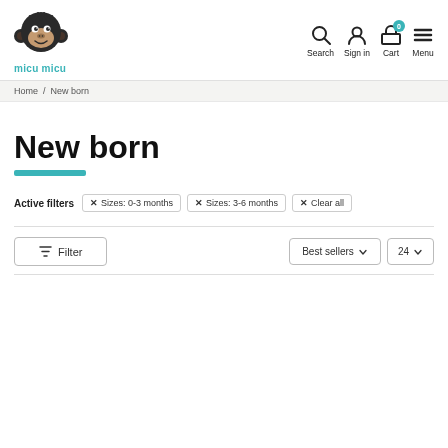micu micu — Search, Sign in, Cart, Menu
Home / New born
New born
Active filters  ✕ Sizes: 0-3 months  ✕ Sizes: 3-6 months  ✕ Clear all
Filter   Best sellers ∨   24 ∨